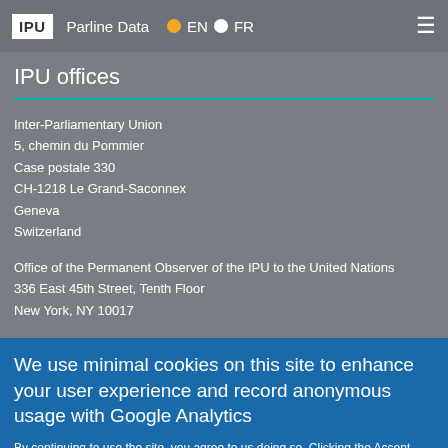IPU Parline Data EN FR
IPU offices
Inter-Parliamentary Union
5, chemin du Pommier
Case postale 330
CH-1218 Le Grand-Saconnex
Geneva
Switzerland
Office of the Permanent Observer of the IPU to the United Nations
336 East 45th Street, Tenth Floor
New York, NY 10017
We use minimal cookies on this site to enhance your user experience and record anonymous usage with Google Analytics
By continuing to use the site, you agree to us doing so. Clicking the Accept button will remove this message. More on our policies
Accept